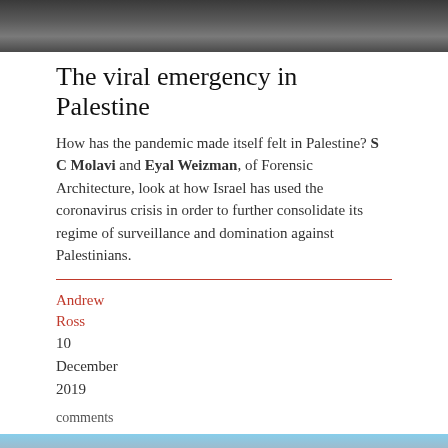[Figure (photo): Top portion of a photo showing a person, partially cropped]
The viral emergency in Palestine
How has the pandemic made itself felt in Palestine? S C Molavi and Eyal Weizman, of Forensic Architecture, look at how Israel has used the coronavirus crisis in order to further consolidate its regime of surveillance and domination against Palestinians.
Andrew Ross
10
December
2019
comments
[Figure (photo): Landscape photo showing a rocky quarry or construction site with hills in the background under a blue sky]